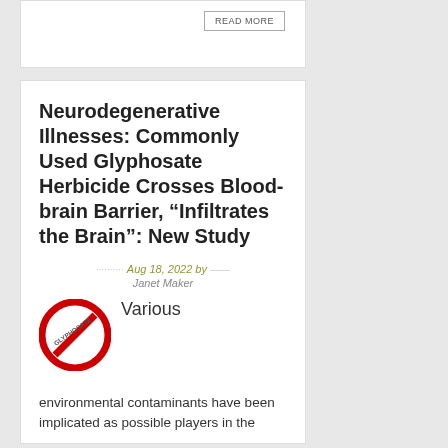[Figure (screenshot): Top card fragment with a READ MORE button, partially visible]
Neurodegenerative Illnesses: Commonly Used Glyphosate Herbicide Crosses Blood-brain Barrier, “Infiltrates the Brain”: New Study
Aug 18, 2022 by Janet Maker
[Figure (illustration): Red no/prohibition sign with text GLYPHOSATE inside, indicating banned or warning symbol]
Various
environmental contaminants have been implicated as possible players in the